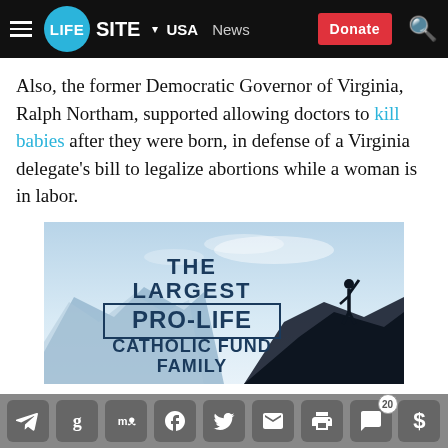LIFESITE • USA  News  Donate
Also, the former Democratic Governor of Virginia, Ralph Northam, supported allowing doctors to kill babies after they were born, in defense of a Virginia delegate's bill to legalize abortions while a woman is in labor.
[Figure (illustration): Advertisement banner: 'THE LARGEST PRO-LIFE CATHOLIC FUND FAMILY' with silhouette of a person raising fist on a mountain top against blue sky background.]
Share icons: Telegram, Gab, MeWe, Facebook, Twitter, Email, Print, Comments (20), Donate ($)